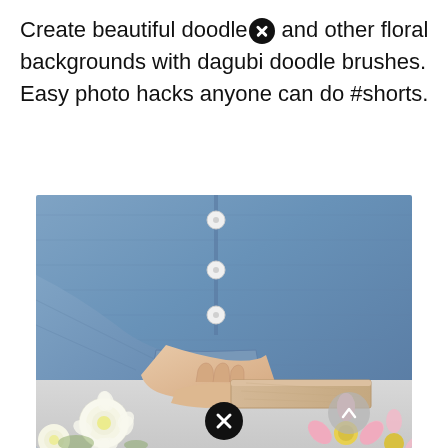Create beautiful doodles and other floral backgrounds with dagubi doodle brushes. Easy photo hacks anyone can do #shorts.
[Figure (photo): Person in a denim shirt holding a small wooden block on a white surface, with white and pink flowers (ranunculus and daisies) arranged in the foreground.]